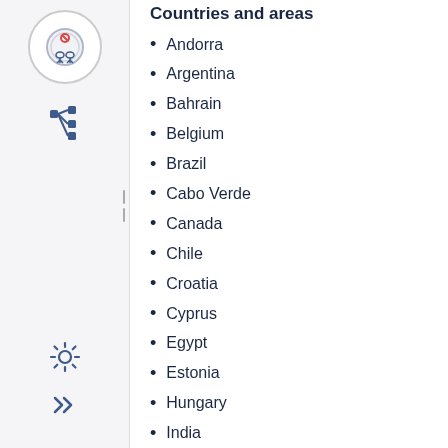Countries and areas
Andorra
Argentina
Bahrain
Belgium
Brazil
Cabo Verde
Canada
Chile
Croatia
Cyprus
Egypt
Estonia
Hungary
India
Kuwait
Lithuania
Luxembourg
Mexico
Nepal
Netherlands (Kir
Palestinian territ
Paraguay